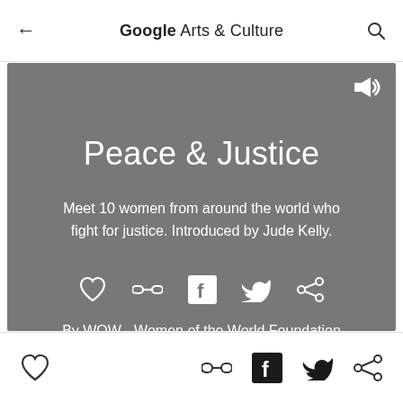← Google Arts & Culture 🔍
Peace & Justice
Meet 10 women from around the world who fight for justice. Introduced by Jude Kelly.
[Figure (screenshot): Row of interactive icons: heart (like), link, Facebook, Twitter, share]
By WOW - Women of the World Foundation
Bottom navigation bar with heart, link, Facebook, Twitter, share icons